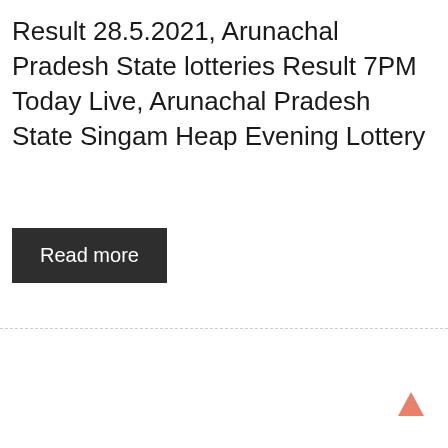Result 28.5.2021, Arunachal Pradesh State lotteries Result 7PM Today Live, Arunachal Pradesh State Singam Heap Evening Lottery
Read more